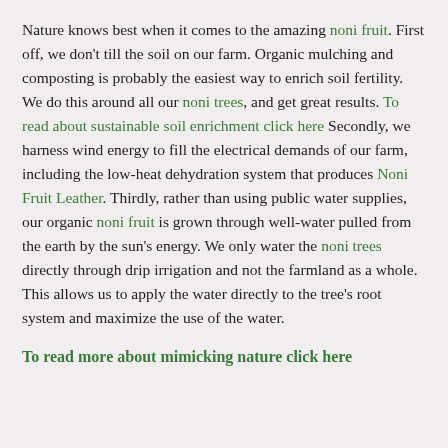Nature knows best when it comes to the amazing noni fruit. First off, we don't till the soil on our farm. Organic mulching and composting is probably the easiest way to enrich soil fertility. We do this around all our noni trees, and get great results. To read about sustainable soil enrichment click here Secondly, we harness wind energy to fill the electrical demands of our farm, including the low-heat dehydration system that produces Noni Fruit Leather. Thirdly, rather than using public water supplies, our organic noni fruit is grown through well-water pulled from the earth by the sun's energy. We only water the noni trees directly through drip irrigation and not the farmland as a whole. This allows us to apply the water directly to the tree's root system and maximize the use of the water.
To read more about mimicking nature click here